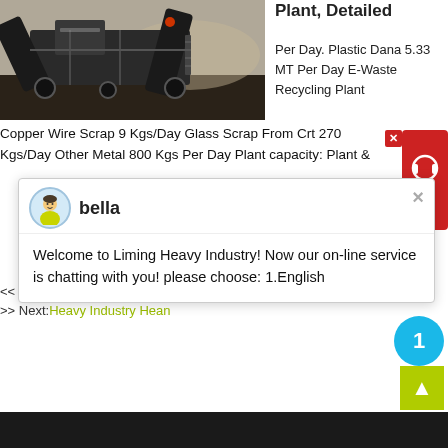[Figure (photo): Photo of a large industrial mobile crushing/screening plant machine outdoors on a dirt surface with dust in the background.]
Plant, Detailed
Per Day. Plastic Dana 5.33 MT Per Day E-Waste Recycling Plant
Copper Wire Scrap 9 Kgs/Day Glass Scrap From Crt 270 Kgs/Day Other Metal 800 Kgs Per Day Plant capacity: Plant &
[Figure (screenshot): Live chat widget popup from Liming Heavy Industry website. Shows avatar of agent named 'bella' with welcome message: Welcome to Liming Heavy Industry! Now our on-line service is chatting with you! please choose: 1.English]
<< Previous: Flotation Separating Of Chromite From Silica Sand
>> Next: Heavy Industry Hean
[Figure (other): Red customer support icon panel on right side with close X button]
[Figure (other): Cyan/blue notification circle badge with number 1]
[Figure (other): Green back-to-top arrow button]